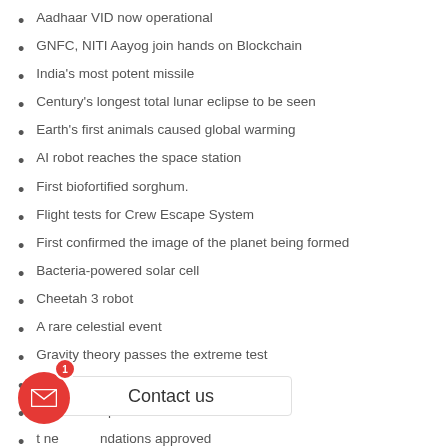Aadhaar VID now operational
GNFC, NITI Aayog join hands on Blockchain
India's most potent missile
Century's longest total lunar eclipse to be seen
Earth's first animals caused global warming
AI robot reaches the space station
First biofortified sorghum.
Flight tests for Crew Escape System
First confirmed the image of the planet being formed
Bacteria-powered solar cell
Cheetah 3 robot
A rare celestial event
Gravity theory passes the extreme test
'Sausage' galaxy reshaped Milky Way
Kepler Telescope almost out of fuel
Net neutrality recommendations approved
India's first internet calling